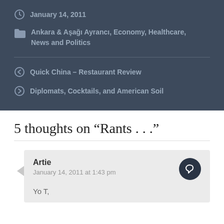January 14, 2011
Ankara & Aşağı Ayrancı, Economy, Healthcare, News and Politics
Quick China – Restaurant Review
Diplomats, Cocktails, and American Soil
5 thoughts on “Rants . . .”
Artie
January 14, 2011 at 1:43 pm
Yo T,